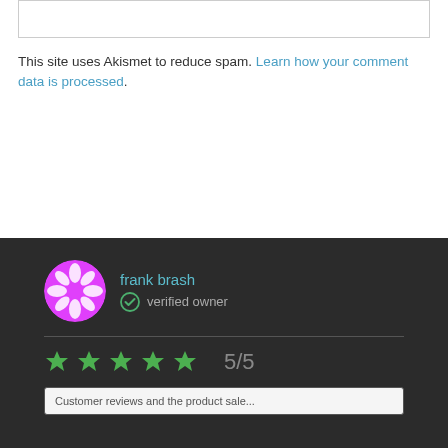This site uses Akismet to reduce spam. Learn how your comment data is processed.
[Figure (other): User avatar circle with pink/magenta decorative pattern for user frank brash]
frank brash
verified owner
[Figure (other): 5 green star rating icons with rating text 5/5]
5/5
Customer reviews and the product sale... (partially visible)